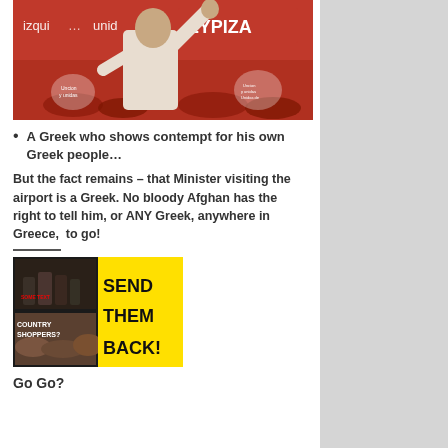[Figure (photo): Man with arm raised at political rally with SYRIZA banner and text 'izqui... unid']
A Greek who shows contempt for his own Greek people…
But the fact remains – that Minister visiting the airport is a Greek. No bloody Afghan has the right to tell him, or ANY Greek, anywhere in Greece,  to go!
[Figure (infographic): Yellow and black poster reading 'COUNTRY SHOPPERS? SEND THEM BACK!' with protest images]
Go Go?